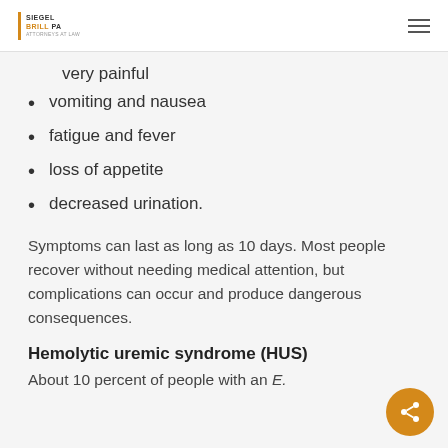Siegel Brill PA
very painful
vomiting and nausea
fatigue and fever
loss of appetite
decreased urination.
Symptoms can last as long as 10 days. Most people recover without needing medical attention, but complications can occur and produce dangerous consequences.
Hemolytic uremic syndrome (HUS)
About 10 percent of people with an E.